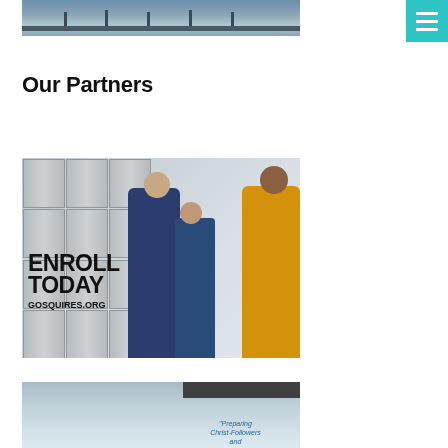[Figure (photo): Top partial photo of a bridge over water]
[Figure (other): Teal hamburger menu button in upper right corner]
Our Partners
[Figure (photo): Photo of three students in school hallway with lockers, text overlay reading ENROLL TODAY GOSQUIRES.ORG]
[Figure (photo): Partial bottom photo with text 'Preparing Christ-Followers and']